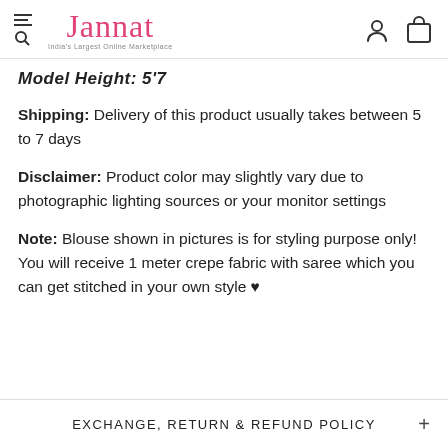Jannat — India's Largest Online Marketplace
Model Height: 5'7
Shipping: Delivery of this product usually takes between 5 to 7 days
Disclaimer: Product color may slightly vary due to photographic lighting sources or your monitor settings
Note: Blouse shown in pictures is for styling purpose only! You will receive 1 meter crepe fabric with saree which you can get stitched in your own style ♥
EXCHANGE, RETURN & REFUND POLICY